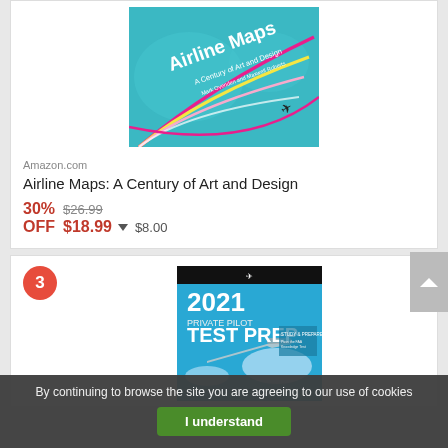[Figure (photo): Book cover: Airline Maps: A Century of Art and Design — teal/aqua background with colorful route lines and airplane silhouette]
Amazon.com
Airline Maps: A Century of Art and Design
30% OFF  $26.99  $18.99  ▼ $8.00
[Figure (photo): Book cover: 2021 Private Pilot Test Prep — blue sky, airplane image]
By continuing to browse the site you are agreeing to our use of cookies
I understand